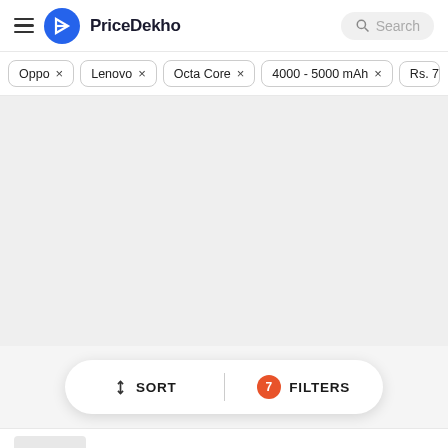PriceDekho — Search
Oppo ×
Lenovo ×
Octa Core ×
4000 - 5000 mAh ×
Rs. 7...
↕ SORT | 7 FILTERS
OPPO A11K